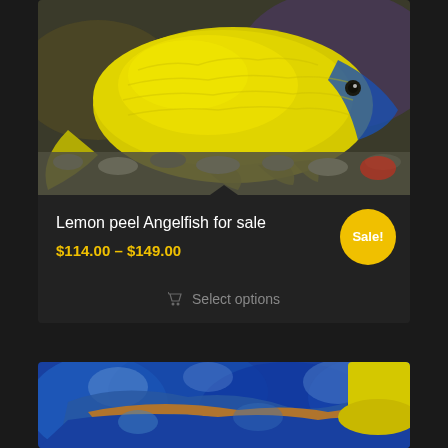[Figure (photo): Close-up photo of a bright yellow Lemon peel Angelfish against a blurred aquatic background with gravel at the bottom]
Lemon peel Angelfish for sale
$114.00 – $149.00
Sale!
Select options
[Figure (photo): Underwater photo of a blue and yellow angelfish swimming among blue coral reef]